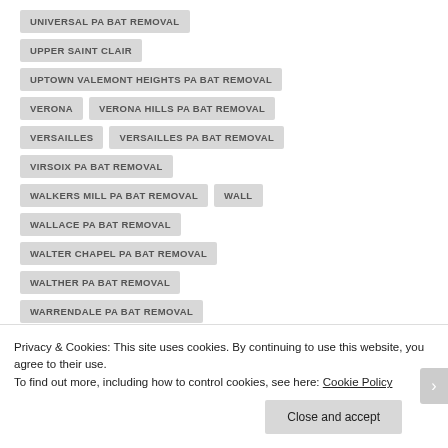UNIVERSAL PA BAT REMOVAL
UPPER SAINT CLAIR
UPTOWN VALEMONT HEIGHTS PA BAT REMOVAL
VERONA
VERONA HILLS PA BAT REMOVAL
VERSAILLES
VERSAILLES PA BAT REMOVAL
VIRSOIX PA BAT REMOVAL
WALKERS MILL PA BAT REMOVAL
WALL
WALLACE PA BAT REMOVAL
WALTER CHAPEL PA BAT REMOVAL
WALTHER PA BAT REMOVAL
WARRENDALE PA BAT REMOVAL
Privacy & Cookies: This site uses cookies. By continuing to use this website, you agree to their use.
To find out more, including how to control cookies, see here: Cookie Policy